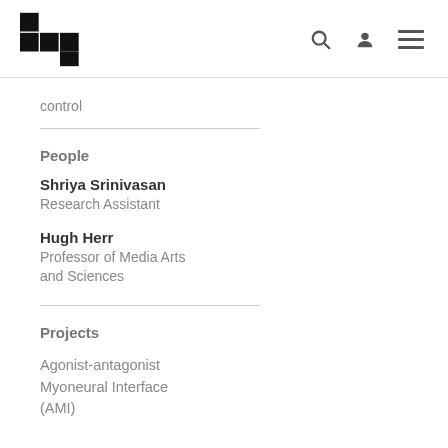MIT Media Lab logo with navigation icons
control
People
Shriya Srinivasan
Research Assistant
Hugh Herr
Professor of Media Arts and Sciences
Projects
Agonist-antagonist Myoneural Interface (AMI)